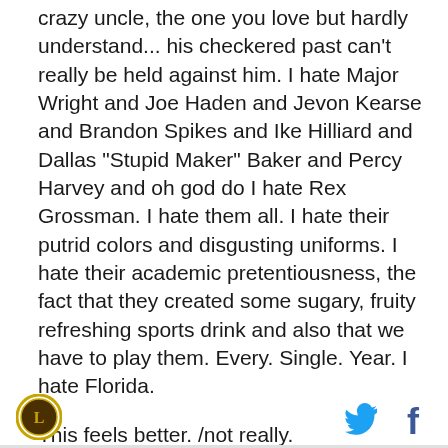crazy uncle, the one you love but hardly understand... his checkered past can't really be held against him. I hate Major Wright and Joe Haden and Jevon Kearse and Brandon Spikes and Ike Hilliard and Dallas "Stupid Maker" Baker and Percy Harvey and oh god do I hate Rex Grossman. I hate them all. I hate their putrid colors and disgusting uniforms. I hate their academic pretentiousness, the fact that they created some sugary, fruity refreshing sports drink and also that we have to play them. Every. Single. Year. I hate Florida.
This feels better. /not really.
Florida kicked our ass this weekend. There's no two ways about it. The first half, when we lead, was
[Figure (logo): Circular logo with gold border, appears to be a sports team or publication logo with letter/emblem in center]
[Figure (logo): Twitter bird icon in cyan/blue]
[Figure (logo): Facebook 'f' icon in dark blue]